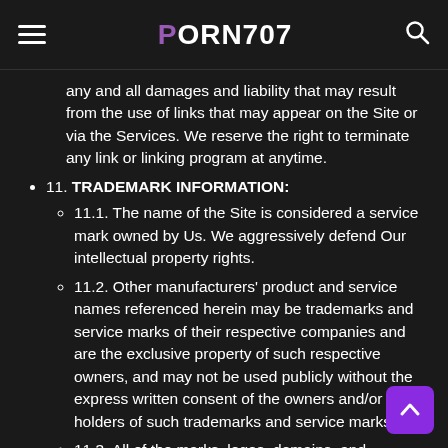PORN707
any and all damages and liability that may result from the use of links that may appear on the Site or via the Services. We reserve the right to terminate any link or linking program at anytime.
11. TRADEMARK INFORMATION:
11.1. The name of the Site is considered a service mark owned by Us. We aggressively defend Our intellectual property rights.
11.2. Other manufacturers' product and service names referenced herein may be trademarks and service marks of their respective companies and are the exclusive property of such respective owners, and may not be used publicly without the express written consent of the owners and/or holders of such trademarks and service marks.
11.3. All of the marks, logos, domains, and trademarks that You find on the Site and Services may not be used publicly except with express written permission from Us, and may not be used in any manner that is likely to cause confusion among consumers, or in any manner